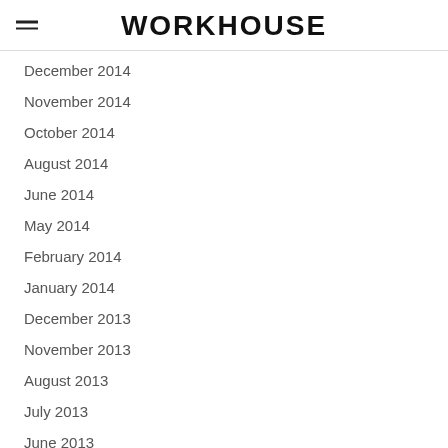WORKHOUSE
December 2014
November 2014
October 2014
August 2014
June 2014
May 2014
February 2014
January 2014
December 2013
November 2013
August 2013
July 2013
June 2013
May 2013
September 2012
November 2011
October 2011